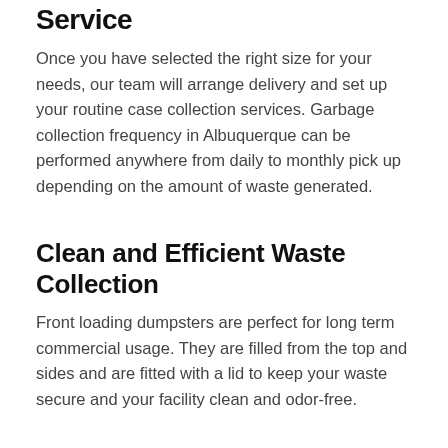Service
Once you have selected the right size for your needs, our team will arrange delivery and set up your routine case collection services. Garbage collection frequency in Albuquerque can be performed anywhere from daily to monthly pick up depending on the amount of waste generated.
Clean and Efficient Waste Collection
Front loading dumpsters are perfect for long term commercial usage. They are filled from the top and sides and are fitted with a lid to keep your waste secure and your facility clean and odor-free.